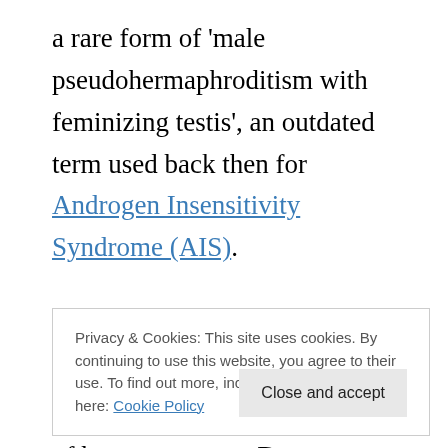a rare form of 'male pseudohermaphroditism with feminizing testis', an outdated term used back then for Androgen Insensitivity Syndrome (AIS).
Agnes wanted sex reassignment surgery (SRS) to align her genitalia with the rest of her appearance. Doctors agreed, due to
Privacy & Cookies: This site uses cookies. By continuing to use this website, you agree to their use. To find out more, including how to c... see here: Cookie Policy
behaved and taking instruction form her